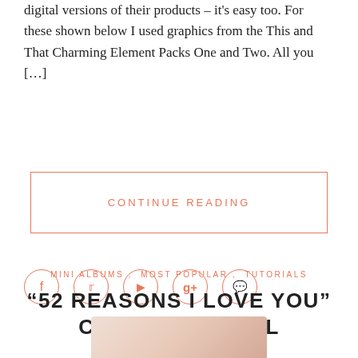digital versions of their products – it's easy too. For these shown below I used graphics from the This and That Charming Element Packs One and Two. All you […]
CONTINUE READING
[Figure (other): Social media icon buttons: Facebook, Twitter, Pinterest, Google+, and Comment icons in orange circle outlines]
MINI ALBUMS , MOST POPULAR , TUTORIALS
“52 REASONS I LOVE YOU” CARDS TUTORIAL
[Figure (photo): Partial view of cards or album at bottom of page]